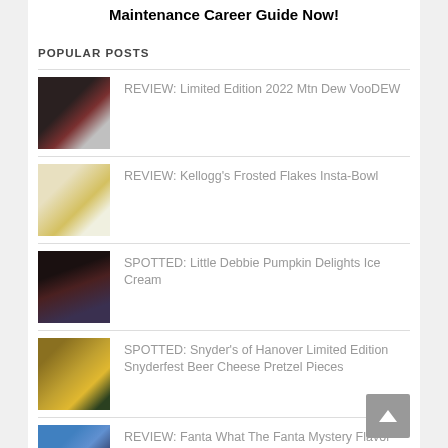Maintenance Career Guide Now!
POPULAR POSTS
REVIEW: Limited Edition 2022 Mtn Dew VooDEW
REVIEW: Kellogg's Frosted Flakes Insta-Bowl
SPOTTED: Little Debbie Pumpkin Delights Ice Cream
SPOTTED: Snyder's of Hanover Limited Edition Snyderfest Beer Cheese Pretzel Pieces
REVIEW: Fanta What The Fanta Mystery Flavor